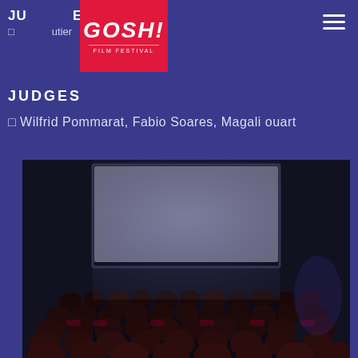JUDGMENT
🎬 ...utier
[Figure (logo): GOSH! Film Festival logo — red background with white bold italic text 'GOSH!' and 'FILM FESTIVAL' subtitle]
JUDGES
🎬 Wilfrid Pommarat, Fabio Soares, Magali ouart
[Figure (photo): Interior of a cinema/movie theater with audience silhouettes seated in red chairs, facing a bright white projection screen at the front]